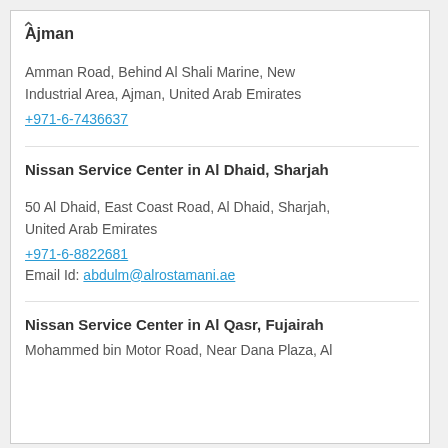Ajman
Amman Road, Behind Al Shali Marine, New Industrial Area, Ajman, United Arab Emirates
+971-6-7436637
Nissan Service Center in Al Dhaid, Sharjah
50 Al Dhaid, East Coast Road, Al Dhaid, Sharjah, United Arab Emirates
+971-6-8822681
Email Id: abdulm@alrostamani.ae
Nissan Service Center in Al Qasr, Fujairah
Mohammed bin Motor Road, Near Dana Plaza, Al